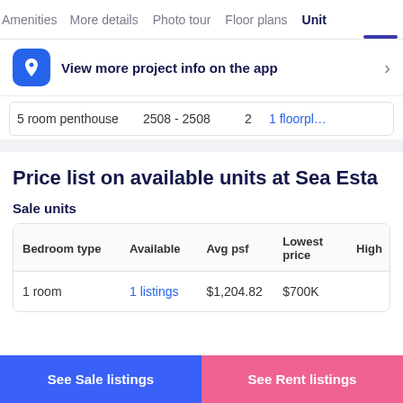Amenities  More details  Photo tour  Floor plans  Unit
View more project info on the app
|  | 2508 - 2508 | 2 | 1 floorpl… |
| --- | --- | --- | --- |
| 5 room penthouse | 2508 - 2508 | 2 | 1 floorpl… |
Price list on available units at Sea Esta
Sale units
| Bedroom type | Available | Avg psf | Lowest price | High… |
| --- | --- | --- | --- | --- |
| 1 room | 1 listings | $1,204.82 | $700K |  |
See Sale listings
See Rent listings